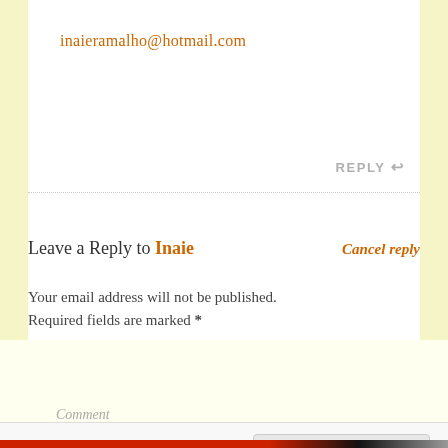inaieramalho@hotmail.com
REPLY ↩
Leave a Reply to Inaie
Cancel reply
Your email address will not be published. Required fields are marked *
Comment
Privacy & Cookies: This site uses cookies. By continuing to use this website, you agree to their use.
To find out more, including how to control cookies, see here: Cookie Policy
Close and accept